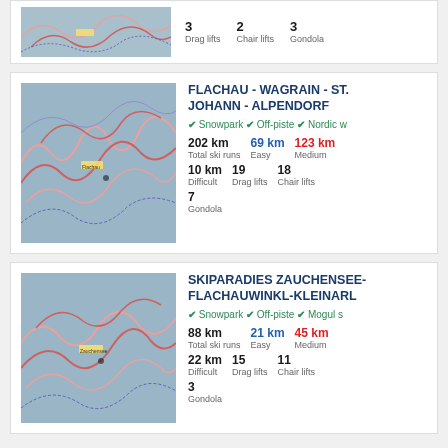[Figure (map): Partial ski resort trail map at top of page]
3 Drag lifts  2 Chair lifts  3 Gondola
[Figure (map): Flachau-Wagrain-St. Johann-Alpendorf ski resort trail map]
FLACHAU - WAGRAIN - ST. JOHANN - ALPENDORF
✔ Snowpark ✔ Off-piste ✔ Nordic w
202 km Total ski runs  69 km Easy  123 km Medium  10 km Difficult  19 Drag lifts  18 Chair lifts  7 Gondola
[Figure (map): Skiparadies Zauchensee-Flachauwinkl-Kleinarl ski resort trail map]
SKIPARADIES ZAUCHENSEE-FLACHAUWINKL-KLEINARL
✔ Snowpark ✔ Off-piste ✔ Mogul s
88 km Total ski runs  21 km Easy  45 km Medium  22 km Difficult  15 Drag lifts  11 Chair lifts  3 Gondola